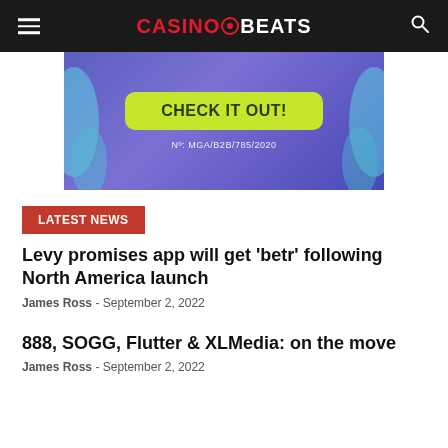CasinoBeats
[Figure (illustration): Advertisement banner with purple gradient background, a green 'CHECK IT OUT!' button, and text 'Nº: MGA/B2B/785/2020']
LATEST NEWS
Levy promises app will get 'betr' following North America launch
James Ross - September 2, 2022
888, SOGG, Flutter & XLMedia: on the move
James Ross - September 2, 2022